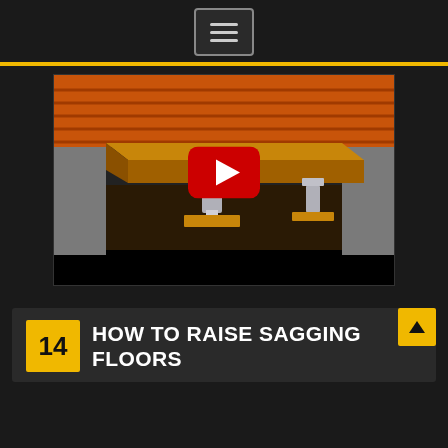Navigation menu button (hamburger icon)
[Figure (screenshot): YouTube video thumbnail showing a 3D illustration of a crawl space with orange floor joists, a wooden beam supported by adjustable steel jack posts on wooden footings, and a concrete foundation wall. A YouTube play button (red rounded rectangle with white triangle) is overlaid in the center.]
HOW TO RAISE SAGGING FLOORS